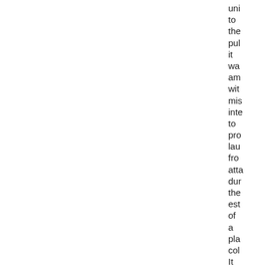uni to the pul it wa am wit mis inte to pro lau fro atta dur the est of a pla col It wa a